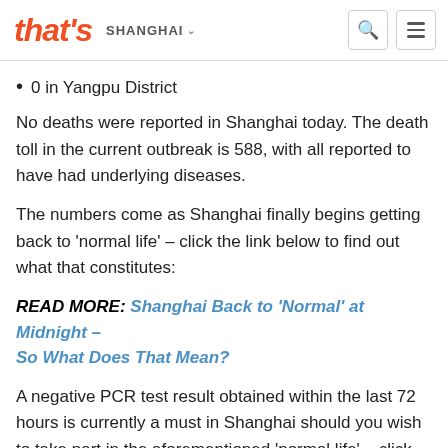that's SHANGHAI
0 in Yangpu District
No deaths were reported in Shanghai today. The death toll in the current outbreak is 588, with all reported to have had underlying diseases.
The numbers come as Shanghai finally begins getting back to 'normal life' – click the link below to find out what that constitutes:
READ MORE: Shanghai Back to 'Normal' at Midnight – So What Does That Mean?
A negative PCR test result obtained within the last 72 hours is currently a must in Shanghai should you wish to take part in the aforementioned 'normal life' – click the link below to find out where to get one: